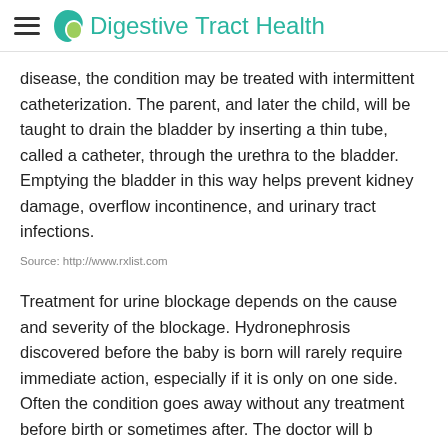Digestive Tract Health
disease, the condition may be treated with intermittent catheterization. The parent, and later the child, will be taught to drain the bladder by inserting a thin tube, called a catheter, through the urethra to the bladder. Emptying the bladder in this way helps prevent kidney damage, overflow incontinence, and urinary tract infections.
Source: http://www.rxlist.com
Treatment for urine blockage depends on the cause and severity of the blockage. Hydronephrosis discovered before the baby is born will rarely require immediate action, especially if it is only on one side. Often the condition goes away without any treatment before birth or sometimes after. The doctor will be...